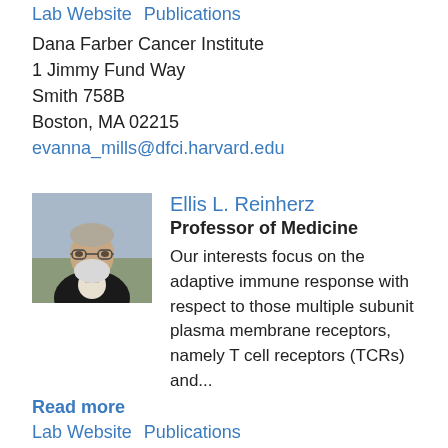Lab Website  Publications
Dana Farber Cancer Institute
1 Jimmy Fund Way
Smith 758B
Boston, MA 02215
evanna_mills@dfci.harvard.edu
[Figure (photo): Headshot photo of Ellis L. Reinherz, an older man with glasses and a white beard wearing a dark jacket]
Ellis L. Reinherz
Professor of Medicine
Our interests focus on the adaptive immune response with respect to those multiple subunit plasma membrane receptors, namely T cell receptors (TCRs) and...
Read more
Lab Website  Publications
Dana-Farber Cancer Institute
Department of Medicine